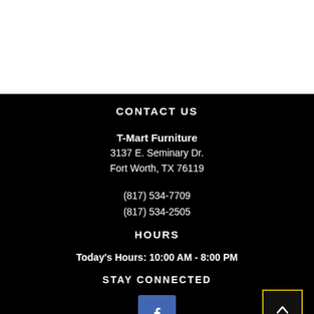CONTACT US
T-Mart Furniture
3137 E. Seminary Dr.
Fort Worth, TX 76119
(817) 534-7709
(817) 534-2505
HOURS
Today's Hours: 10:00 AM - 8:00 PM
STAY CONNECTED
[Figure (logo): Facebook logo icon (blue square with white 'f')]